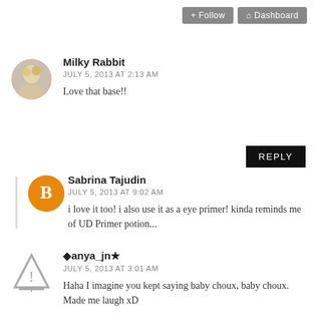+ Follow   Dashboard
Milky Rabbit
JULY 5, 2013 AT 2:13 AM
Love that base!!
REPLY
Sabrina Tajudin
JULY 5, 2013 AT 9:02 AM
i love it too! i also use it as a eye primer! kinda reminds me of UD Primer potion...
♦anya_jn★
JULY 5, 2013 AT 3:01 AM
Haha I imagine you kept saying baby choux, baby choux. Made me laugh xD
I wanted to buy Maybelline Color Tattoo, but I decided not to. Kinda don't like the price :X